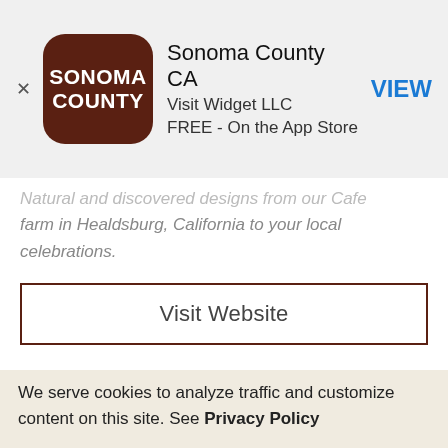[Figure (other): App store advertisement banner for Sonoma County CA app by Visit Widget LLC, FREE on the App Store, with VIEW button]
Natural and discovered designs from our Cafe farm in Healdsburg, California to your local celebrations.
Visit Website
Roadhouse Winery >
Based on 9 reviews
[Figure (photo): Photo of wine bottles stored in dark wooden shelving/rack]
We serve cookies to analyze traffic and customize content on this site. See Privacy Policy